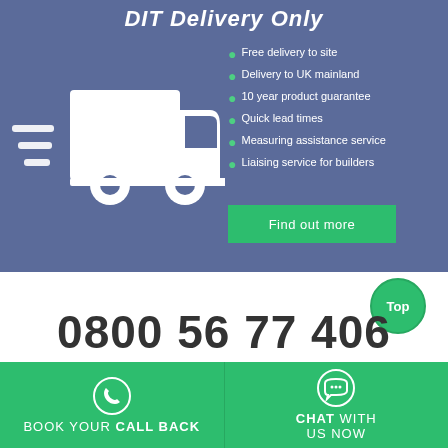DIT Delivery Only
[Figure (illustration): White delivery truck icon with speed lines on blue-grey background]
Free delivery to site
Delivery to UK mainland
10 year product guarantee
Quick lead times
Measuring assistance service
Liaising service for builders
Find out more
Top
0800 56 77 406
BOOK YOUR CALL BACK
CHAT WITH US NOW